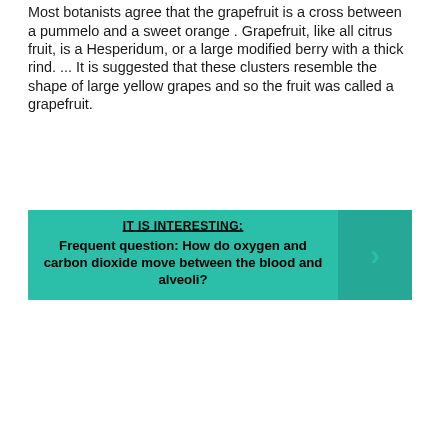Most botanists agree that the grapefruit is a cross between a pummelo and a sweet orange . Grapefruit, like all citrus fruit, is a Hesperidum, or a large modified berry with a thick rind. ... It is suggested that these clusters resemble the shape of large yellow grapes and so the fruit was called a grapefruit.
[Figure (infographic): Teal/green banner with 'IT IS INTERESTING:' header underlined, followed by bold text 'Frequent question: How do oxygen and carbon dioxide move between the blood and alveoli?' and a darker teal right-arrow button on the right side.]